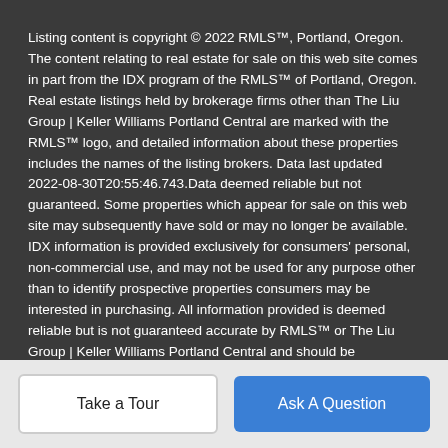Listing content is copyright © 2022 RMLS™, Portland, Oregon. The content relating to real estate for sale on this web site comes in part from the IDX program of the RMLS™ of Portland, Oregon. Real estate listings held by brokerage firms other than The Liu Group | Keller Williams Portland Central are marked with the RMLS™ logo, and detailed information about these properties includes the names of the listing brokers. Data last updated 2022-08-30T20:55:46.743.Data deemed reliable but not guaranteed. Some properties which appear for sale on this web site may subsequently have sold or may no longer be available. IDX information is provided exclusively for consumers' personal, non-commercial use, and may not be used for any purpose other than to identify prospective properties consumers may be interested in purchasing. All information provided is deemed reliable but is not guaranteed accurate by RMLS™ or The Liu Group | Keller Williams Portland Central and should be independently verified.
Take a Tour
Ask A Question